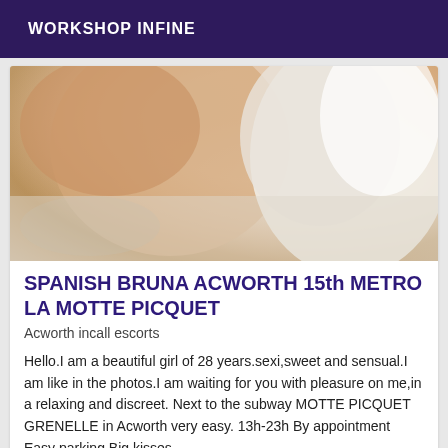WORKSHOP INFINE
[Figure (photo): Close-up photo of a person wearing white lace lingerie, soft focus, warm skin tones]
SPANISH BRUNA ACWORTH 15th METRO LA MOTTE PICQUET
Acworth incall escorts
Hello.I am a beautiful girl of 28 years.sexi,sweet and sensual.I am like in the photos.I am waiting for you with pleasure on me,in a relaxing and discreet. Next to the subway MOTTE PICQUET GRENELLE in Acworth very easy. 13h-23h By appointment Easy parking Big kisses